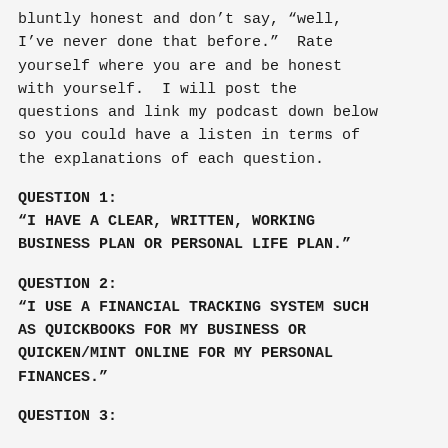bluntly honest and don’t say, “well, I’ve never done that before.”  Rate yourself where you are and be honest with yourself.  I will post the questions and link my podcast down below so you could have a listen in terms of the explanations of each question.
QUESTION 1:
“I HAVE A CLEAR, WRITTEN, WORKING BUSINESS PLAN OR PERSONAL LIFE PLAN.”
QUESTION 2:
“I USE A FINANCIAL TRACKING SYSTEM SUCH AS QUICKBOOKS FOR MY BUSINESS OR QUICKEN/MINT ONLINE FOR MY PERSONAL FINANCES.”
QUESTION 3: